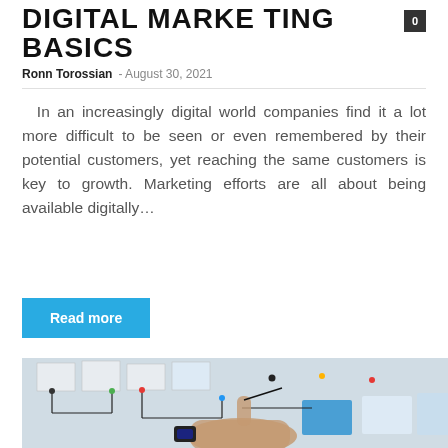DIGITAL MARKETING BASICS
Ronn Torossian · August 30, 2021
In an increasingly digital world companies find it a lot more difficult to be seen or even remembered by their potential customers, yet reaching the same customers is key to growth. Marketing efforts are all about being available digitally…
Read more
[Figure (photo): A person's hand pinning or connecting wires/string to cards and papers on a planning board, with a smartwatch visible on the wrist.]